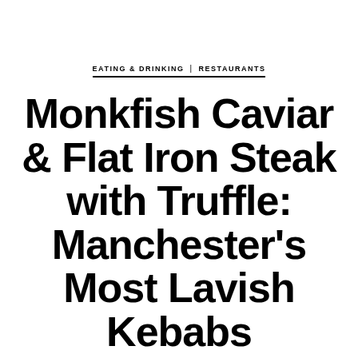EATING & DRINKING | RESTAURANTS
Monkfish Caviar & Flat Iron Steak with Truffle: Manchester's Most Lavish Kebabs
These truly are the city's poshest kebabs...
BY MANCHESTER'S FINEST | JUNE 30TH '21